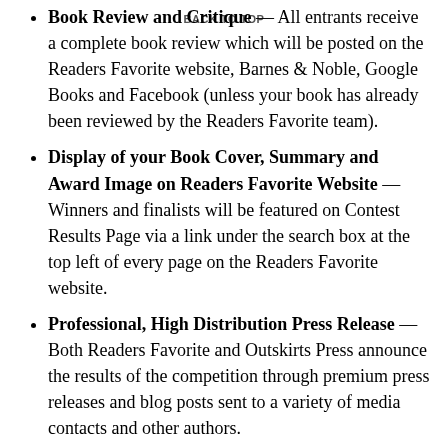BACK TO TOP
Book Review and Critique — All entrants receive a complete book review which will be posted on the Readers Favorite website, Barnes & Noble, Google Books and Facebook (unless your book has already been reviewed by the Readers Favorite team).
Display of your Book Cover, Summary and Award Image on Readers Favorite Website — Winners and finalists will be featured on Contest Results Page via a link under the search box at the top left of every page on the Readers Favorite website.
Professional, High Distribution Press Release — Both Readers Favorite and Outskirts Press announce the results of the competition through premium press releases and blog posts sent to a variety of media contacts and other authors.
The best (and easiest) part is: we can handle all of the submission details for you, including: sending a copy of your book to the judges, paying your award submission